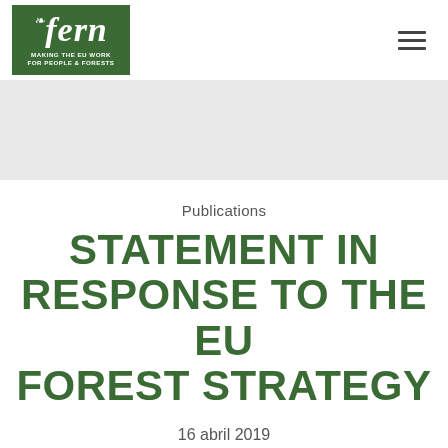[Figure (logo): Fern organization logo — green square with stylized fern spiral, text 'fern' in white italic serif, tagline 'MAKING THE EU WORK FOR PEOPLE & FORESTS' in white]
Publications
STATEMENT IN RESPONSE TO THE EU FOREST STRATEGY
16 abril 2019